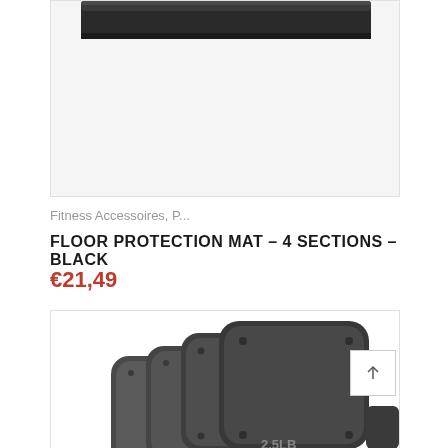[Figure (photo): Top portion of a black floor protection mat shown against a white background]
Fitness Accessoires, P...
FLOOR PROTECTION MAT – 4 SECTIONS – BLACK
€21,49
[Figure (photo): Stack of dark grey/black weight plates labeled 2.5LB shown from an angle on a white background]